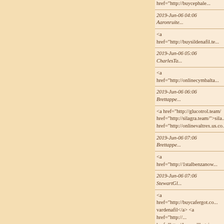href="http://buycephale...
2019-Jun-06 04:06 Aaronruite...
<a href="http://buysildenafil.te...
2019-Jun-06 05:06 CharlesTa...
<a href="http://onlinecymbalta...
2019-Jun-06 06:06 Brettappe...
<a href="http://glucotrol.team/... href="http://silagra.team/">sila... href="http://onlinevaltrex.us.co...
2019-Jun-06 07:06 Brettappe...
<a href="http://1stalbenzanow...
2019-Jun-06 07:06 StewartGl...
<a href="http://buycafergot.co... vardenafil</a> <a href="http://... href="http://buywellbutrin.com... price</a> <a href="http://crest... href="http://rocaltrol.team/">ro... href="http://albuterol.agency/"... href="http://buyaugmentin.us.... herpes</a> <a href="http://bu... href="http://amoxilonline.us.co...
2019-Jun-06 11:06 Bennyjatte...
<a href="http://synthroid.a...